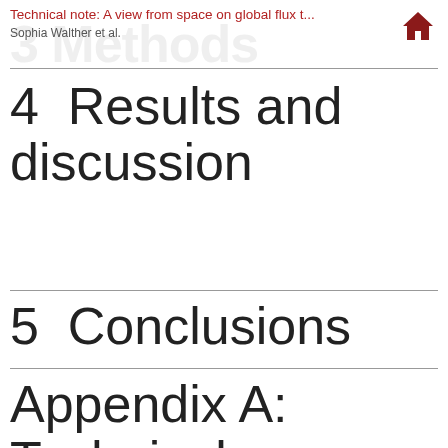Technical note: A view from space on global flux t...
Sophia Walther et al.
4  Results and discussion
5  Conclusions
Appendix A:  Technical details about the